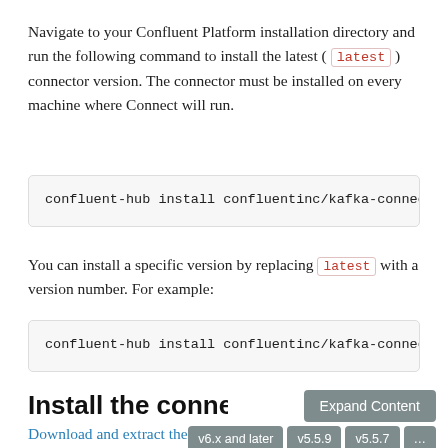Navigate to your Confluent Platform installation directory and run the following command to install the latest ( latest ) connector version. The connector must be installed on every machine where Connect will run.
confluent-hub install confluentinc/kafka-connect-s[...]p
You can install a specific version by replacing latest with a version number. For example:
confluent-hub install confluentinc/kafka-connect-s[...]p
Install the connector manually
Download and extract the zip file for your connector and